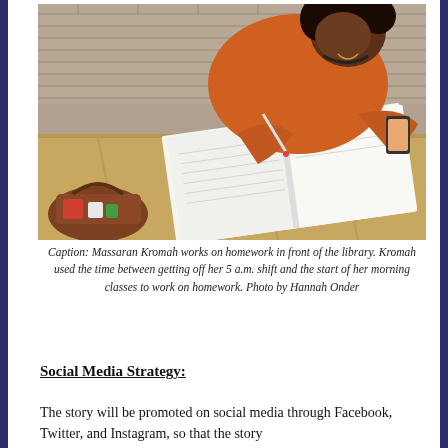[Figure (photo): A woman in an orange jacket sits outside a library writing in a notebook, with a smartphone in her other hand. A basket with items is visible in the lower left. She is working on homework outdoors on a wooden table with brick pavement in the background.]
Caption: Massaran Kromah works on homework in front of the library. Kromah used the time between getting off her 5 a.m. shift and the start of her morning classes to work on homework. Photo by Hannah Onder
Social Media Strategy:
The story will be promoted on social media through Facebook, Twitter, and Instagram, so that the story